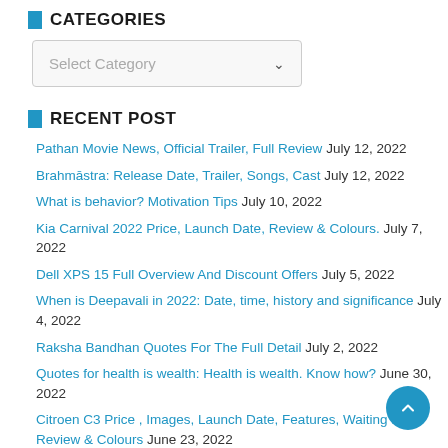CATEGORIES
Select Category
RECENT POST
Pathan Movie News, Official Trailer, Full Review July 12, 2022
Brahmāstra: Release Date, Trailer, Songs, Cast July 12, 2022
What is behavior? Motivation Tips July 10, 2022
Kia Carnival 2022 Price, Launch Date, Review & Colours. July 7, 2022
Dell XPS 15 Full Overview And Discount Offers July 5, 2022
When is Deepavali in 2022: Date, time, history and significance July 4, 2022
Raksha Bandhan Quotes For The Full Detail July 2, 2022
Quotes for health is wealth: Health is wealth. Know how? June 30, 2022
Citroen C3 Price , Images, Launch Date, Features, Waiting time, Review & Colours June 23, 2022